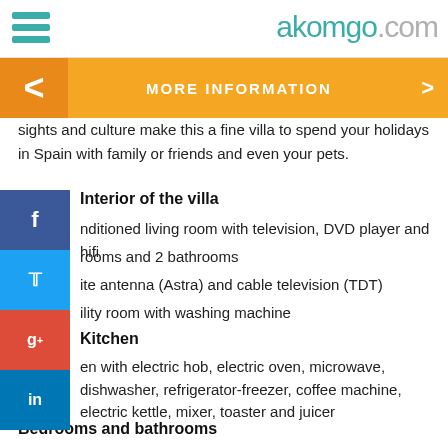akomgo.com
MORE INFORMATION
sights and culture make this a fine villa to spend your holidays in Spain with family or friends and even your pets.
Interior of the villa
nditioned living room with television, DVD player and hifi
rooms and 2 bathrooms
ite antenna (Astra) and cable television (TDT)
ility room with washing machine
Kitchen
en with electric hob, electric oven, microwave, dishwasher, refrigerator-freezer, coffee machine, electric kettle, mixer, toaster and juicer
Bedrooms and bathrooms